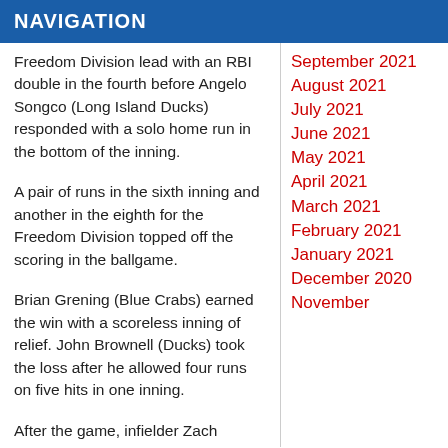NAVIGATION
Freedom Division lead with an RBI double in the fourth before Angelo Songco (Long Island Ducks) responded with a solo home run in the bottom of the inning.
A pair of runs in the sixth inning and another in the eighth for the Freedom Division topped off the scoring in the ballgame.
Brian Grening (Blue Crabs) earned the win with a scoreless inning of relief. John Brownell (Ducks) took the loss after he allowed four runs on five hits in one inning.
After the game, infielder Zach Wilson was named the 2017 Atlantic League All-Star Game MVP. Wilson earned the recognition
September 2021
August 2021
July 2021
June 2021
May 2021
April 2021
March 2021
February 2021
January 2021
December 2020
November